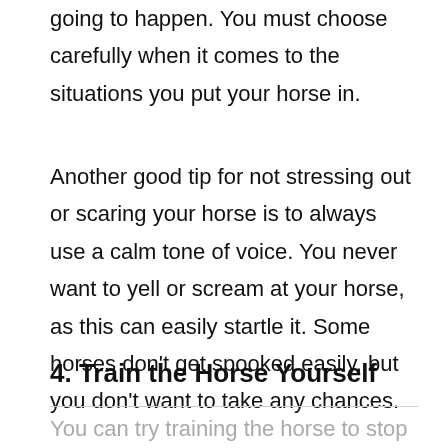going to happen. You must choose carefully when it comes to the situations you put your horse in.
Another good tip for not stressing out or scaring your horse is to always use a calm tone of voice. You never want to yell or scream at your horse, as this can easily startle it. Some horses don’t get spooked easily, but you don’t want to take any chances.
4. Train the Horse Yourself
You can try training the horse to stop rearing